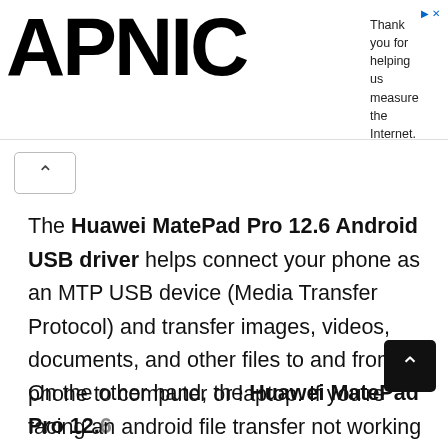APNIC — Thank you for helping us measure the Internet.
The Huawei MatePad Pro 12.6 Android USB driver helps connect your phone as an MTP USB device (Media Transfer Protocol) and transfer images, videos, documents, and other files to and from phone to computer or laptop. If you're facing an android file transfer not working issue, it is recommended to install Huawei MatePad Pro 12.6 drivers to fix the problem.
On the other hand, the Huawei MatePad Pro 12.6